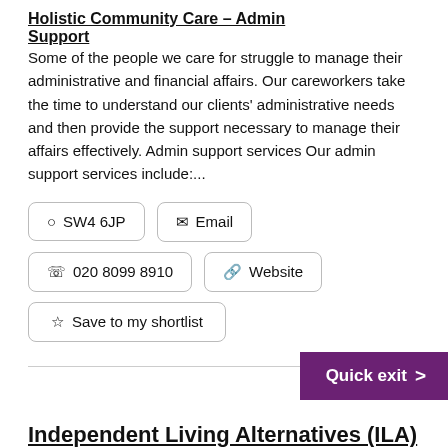Holistic Community Care – Admin Support
Some of the people we care for struggle to manage their administrative and financial affairs. Our careworkers take the time to understand our clients' administrative needs and then provide the support necessary to manage their affairs effectively. Admin support services Our admin support services include:...
SW4 6JP
Email
020 8099 8910
Website
Save to my shortlist
Quick exit >
Independent Living Alternatives (ILA)